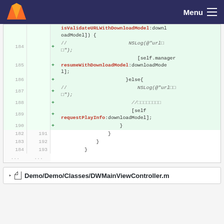Menu
[Figure (screenshot): GitLab diff view showing added lines 184-193 of Objective-C code with line numbers, + markers, and highlighted code including resumeWithDownloadModel and requestPlayInfo methods]
Demo/Demo/Classes/DWMainViewController.m